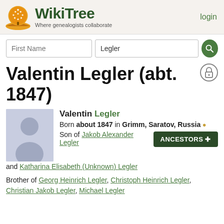[Figure (logo): WikiTree logo with orange/green tree icon and text 'WikiTree Where genealogists collaborate']
login
First Name | Legler [search button]
Valentin Legler (abt. 1847)
[Figure (photo): Generic silhouette profile photo placeholder]
Valentin Legler
Born about 1847 in Grimm, Saratov, Russia
Son of Jakob Alexander Legler and Katharina Elisabeth (Unknown) Legler
Brother of Georg Heinrich Legler, Christoph Heinrich Legler, Christian Jakob Legler, Michael Legler